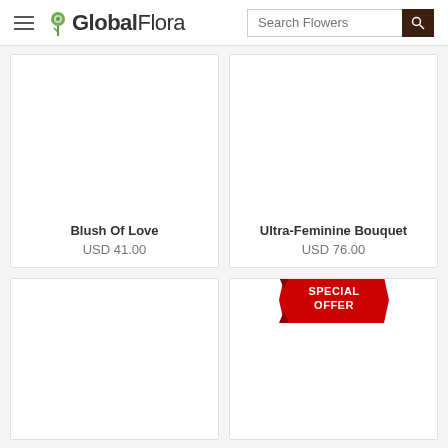GlobalFlora — Search Flowers
[Figure (screenshot): Product card: Blush Of Love, USD 41.00]
[Figure (screenshot): Product card: Ultra-Feminine Bouquet, USD 76.00]
[Figure (screenshot): Product card (no title yet visible)]
[Figure (screenshot): Product card with Special Offer ribbon badge]